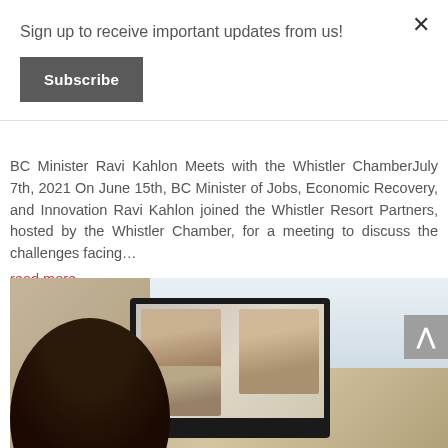Sign up to receive important updates from us!
Subscribe
BC Minister Ravi Kahlon Meets with the Whistler ChamberJuly 7th, 2021 On June 15th, BC Minister of Jobs, Economic Recovery, and Innovation Ravi Kahlon joined the Whistler Resort Partners, hosted by the Whistler Chamber, for a meeting to discuss the challenges facing...
read more
[Figure (photo): A woman viewed from behind looking at a monitor/laptop screen displaying a video call with multiple participants]